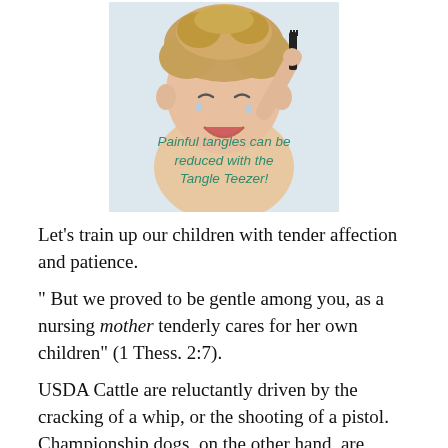[Figure (photo): A crying toddler/baby with curly blonde hair holding a black comb to their head, with text overlay reading 'Painful tangles can be reduced with the Tangle Teezer!']
Let's train up our children with tender affection and patience.
" But we proved to be gentle among you, as a nursing mother tenderly cares for her own children" (1 Thess. 2:7).
USDA Cattle are reluctantly driven by the cracking of a whip, or the shooting of a pistol.  Championship dogs, on the other hand, are happily drawn by a loose leash.  The latter is preferable.  Let's seek to lead our children by cords of love, when possible.  So let there be a silver thread of kindness in all we do, by displaying gentleness